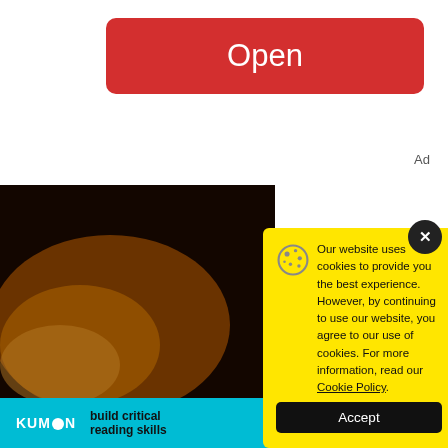[Figure (other): Red 'Open' button at the top center of the page, with white text 'Open' on a red rounded rectangle background]
Ad
[Figure (photo): Background photo showing a hand holding a yellow/orange item, out of focus, dark background]
[Figure (other): Cookie consent modal with yellow background. Contains a cookie icon, text about cookie usage, a link to Cookie Policy, and a black Accept button. Also shows a dark X close button in top right corner.]
Our website uses cookies to provide you the best experience. However, by continuing to use our website, you agree to our use of cookies. For more information, read our Cookie Policy.
[Figure (other): Bottom advertisement banner for Kumon with teal/cyan background, Kumon logo, text 'build critical reading skills', and 'Register Today' button]